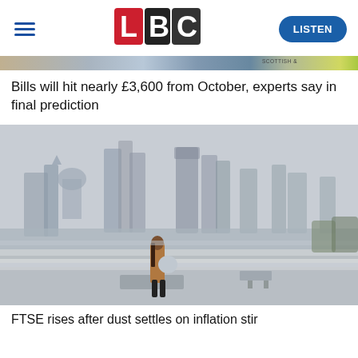[Figure (logo): LBC radio logo with L in red, B in white on black, C in white on dark background]
[Figure (photo): A woman walking along a bridge railing with the London city skyline and River Thames in the misty background]
Bills will hit nearly £3,600 from October, experts say in final prediction
FTSE rises after dust settles on inflation stir